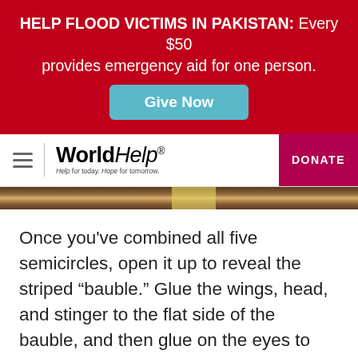HELP FLOOD VICTIMS IN PAKISTAN: Every $50 provides emergency aid for one person.
Give Now
[Figure (logo): World Help logo with tagline 'Help for today. Hope for tomorrow.' and DONATE button]
[Figure (photo): Partial photo of wooden surface with yellow accent strip at top of content area]
Once you've combined all five semicircles, open it up to reveal the striped “bauble.” Glue the wings, head, and stinger to the flat side of the bauble, and then glue on the eyes to complete your bee!
[Figure (photo): Photo of wooden surface with a light blue/grey paper heart or wing shape visible, craft project in progress]